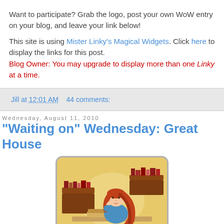Want to participate? Grab the logo, post your own WoW entry on your blog, and leave your link below!
This site is using Mister Linky's Magical Widgets. Click here to display the links for this post. Blog Owner: You may upgrade to display more than one Linky at a time.
Jill at 12:01 AM   44 comments:
Wednesday, August 11, 2010
"Waiting on" Wednesday: Great House
[Figure (illustration): Cartoon illustration of a red-haired woman in a blue top sitting at a desk reading, with bookshelves in the background, on a yellow background inside a rounded rectangle frame.]